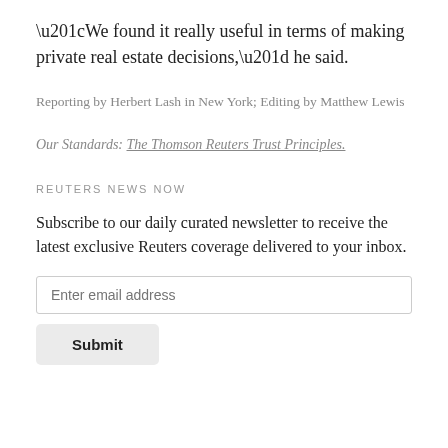“We found it really useful in terms of making private real estate decisions,” he said.
Reporting by Herbert Lash in New York; Editing by Matthew Lewis
Our Standards: The Thomson Reuters Trust Principles.
REUTERS NEWS NOW
Subscribe to our daily curated newsletter to receive the latest exclusive Reuters coverage delivered to your inbox.
Enter email address
Submit